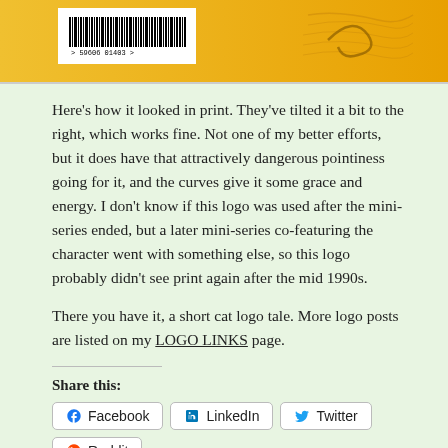[Figure (illustration): Top portion of a book cover with orange/yellow background showing a barcode on the left side and decorative calligraphic elements on the right.]
Here's how it looked in print. They've tilted it a bit to the right, which works fine. Not one of my better efforts, but it does have that attractively dangerous pointiness going for it, and the curves give it some grace and energy. I don't know if this logo was used after the mini-series ended, but a later mini-series co-featuring the character went with something else, so this logo probably didn't see print again after the mid 1990s.
There you have it, a short cat logo tale. More logo posts are listed on my LOGO LINKS page.
Share this:
Facebook
LinkedIn
Twitter
Reddit
Tumblr
More